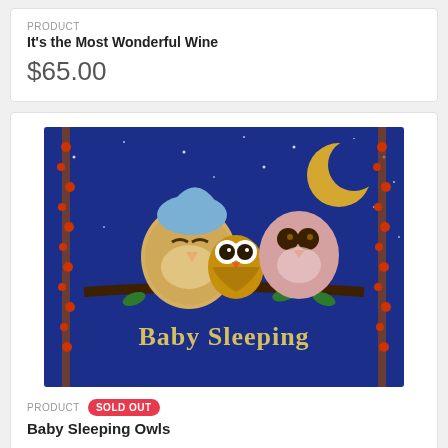PRODUCT
It's the Most Wonderful Wine
$65.00
[Figure (photo): Cross-stitch needlepoint canvas showing three owls sitting on a branch at night with a crescent moon and stars on a blue background. Text reads 'Baby Sleeping' at the bottom.]
PRODUCT SOLD OUT
Baby Sleeping Owls